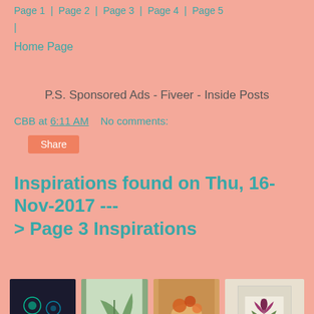Page 1 | Page 2 | Page 3 | Page 4 | Page 5 |
Home Page
P.S. Sponsored Ads - Fiveer - Inside Posts
CBB at 6:11 AM    No comments:
Share
Inspirations found on Thu, 16-Nov-2017 ---> Page 3 Inspirations
[Figure (photo): Four thumbnail images in a row: dark background with glowing circles, green plant/leaf, hand holding autumn leaves, and a quilt block with tulip pattern on linen background]